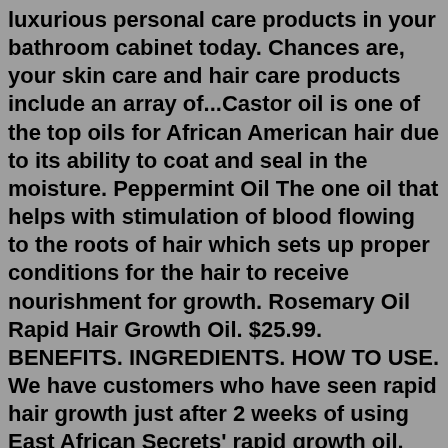luxurious personal care products in your bathroom cabinet today. Chances are, your skin care and hair care products include an array of...Castor oil is one of the top oils for African American hair due to its ability to coat and seal in the moisture. Peppermint Oil The one oil that helps with stimulation of blood flowing to the roots of hair which sets up proper conditions for the hair to receive nourishment for growth. Rosemary Oil Rapid Hair Growth Oil. $25.99. BENEFITS. INGREDIENTS. HOW TO USE. We have customers who have seen rapid hair growth just after 2 weeks of using East African Secrets' rapid growth oil. Our rapid growth oil provides thickness and hair growth when massaged into the scalp. Great for thin hair and bald spots as well. I am Gugu Mthethwa This is a platform where I share my tips and tricks about managing and loving your natural hair and more about myself... For inquiries email: pociamthethwa@gmail.com.While argan oil has been a staple in Africa for centuries, the Western world has